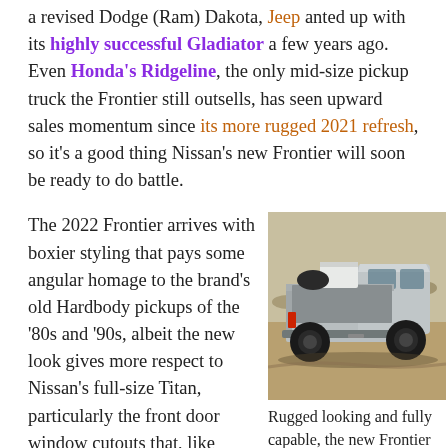a revised Dodge (Ram) Dakota, Jeep anted up with its highly successful Gladiator a few years ago. Even Honda's Ridgeline, the only mid-size pickup truck the Frontier still outsells, has seen upward sales momentum since its more rugged 2021 refresh, so it's a good thing Nissan's new Frontier will soon be ready to do battle.
The 2022 Frontier arrives with boxier styling that pays some angular homage to the brand's old Hardbody pickups of the '80s and '90s, albeit the new look gives more respect to Nissan's full-size Titan, particularly the front door window cutouts that, like Ford's F-
[Figure (photo): A silver Nissan Frontier pickup truck viewed from rear three-quarter angle, parked on a dirt/sandy surface with rugged terrain visible. The truck has a tonneau cover with cargo in the bed, dark wheels, and a rugged off-road appearance.]
Rugged looking and fully capable, the new Frontier should be a force to be reckoned with.